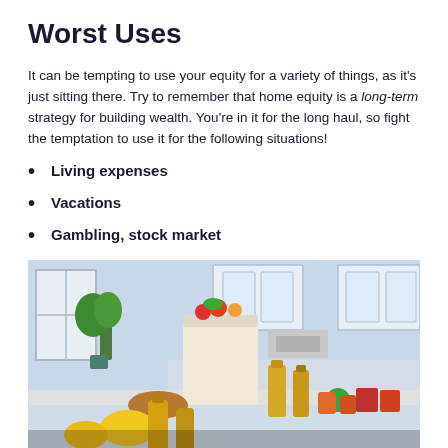Worst Uses
It can be tempting to use your equity for a variety of things, as it's just sitting there. Try to remember that home equity is a long-term strategy for building wealth. You're in it for the long haul, so fight the temptation to use it for the following situations!
Living expenses
Vacations
Gambling, stock market
[Figure (photo): Kitchen scene with groceries, vegetables, fruits, oils, and canned goods on a counter, with white cabinets and a range hood in the background.]